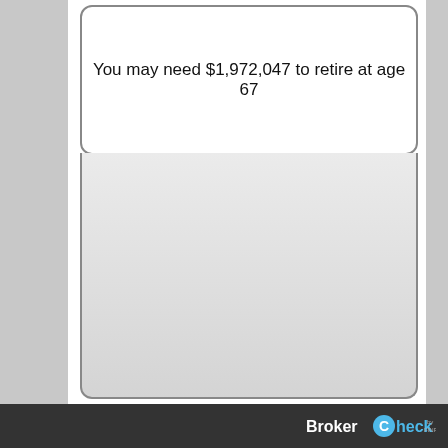You may need $1,972,047 to retire at age 67
DEFINITIONS
CURRENT AGE
Your current age.
AGE AT RETIREMENT
BrokerCheck